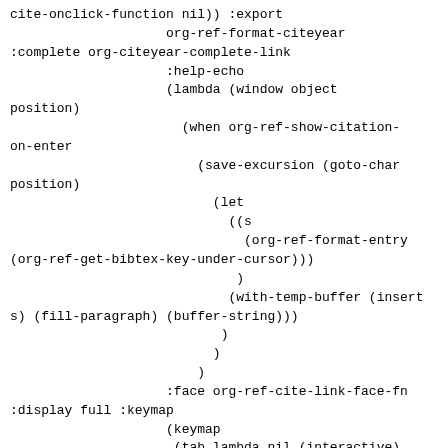cite-onclick-function nil)) :export
                    org-ref-format-citeyear
:complete org-citeyear-complete-link
                    :help-echo
                    (lambda (window object
position)
                      (when org-ref-show-citation-
on-enter
                        (save-excursion (goto-char
position)
                          (let
                            ((s
                              (org-ref-format-entry
(org-ref-get-bibtex-key-under-cursor)))
                             )
                            (with-temp-buffer (insert
s) (fill-paragraph) (buffer-string)))
                           )
                          )
                        )
                    :face org-ref-cite-link-face-fn
:display full :keymap
                    (keymap
                     (tab lambda nil (interactive)
                      (funcall org-ref-insert-cite-
function))

                     (S-up . org-ref-sort-citation-
link)

                     (S-right lambda nil
(interactive) (org-ref-swap-citation-link 1))